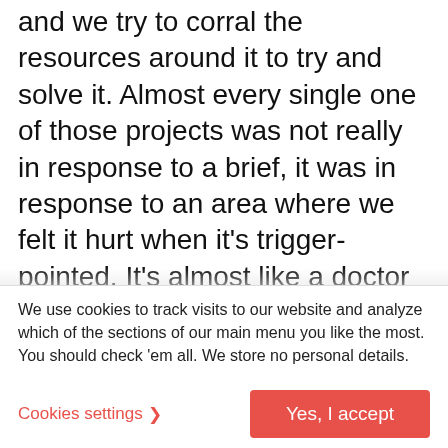and we try to corral the resources around it to try and solve it. Almost every single one of those projects was not really in response to a brief, it was in response to an area where we felt it hurt when it's trigger-pointed. It's almost like a doctor says: "Where does it hurt, son?". Where does it hurt and then try to impact those aspects.
We felt that, for example, in low-cost housing projects. We just felt that the housing solutions were not up to scratch, they were horrible, they
We use cookies to track visits to our website and analyze which of the sections of our main menu you like the most. You should check 'em all. We store no personal details.